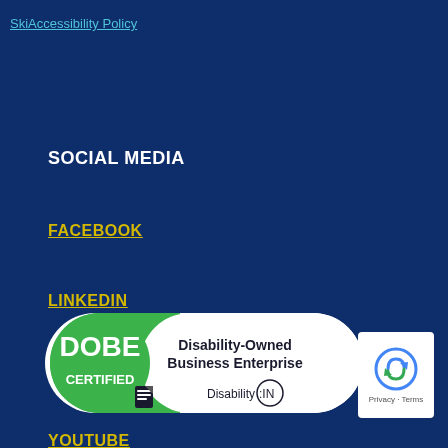Ski Accessibility Policy
SOCIAL MEDIA
FACEBOOK
LINKEDIN
TWITTER
YOUTUBE
[Figure (logo): DOBE Certified - Disability-Owned Business Enterprise - Disability:IN logo badge]
[Figure (logo): reCAPTCHA badge with Privacy and Terms text]